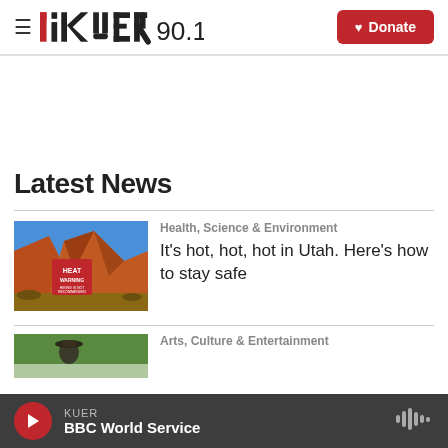KUER 90.1 — Donate
Latest News
[Figure (photo): Red rock canyon with a red 'HEAT WARNING' sign in the foreground against a blue sky]
Health, Science & Environment
It's hot, hot, hot in Utah. Here's how to stay safe
[Figure (photo): Partial view of a person outdoors with trees in background]
Arts, Culture & Entertainment
KUER — BBC World Service